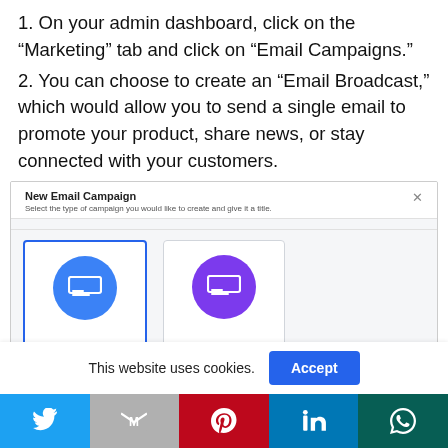1. On your admin dashboard, click on the “Marketing” tab and click on “Email Campaigns.”
2. You can choose to create an “Email Broadcast,” which would allow you to send a single email to promote your product, share news, or stay connected with your customers.
[Figure (screenshot): Screenshot of 'New Email Campaign' dialog showing two campaign type cards: one with a blue circle icon (selected, outlined in blue) and one with a purple circle icon.]
This website uses cookies.  Accept
[Figure (infographic): Social sharing bar with Twitter (blue), Gmail (grey), Pinterest (red), LinkedIn (blue), and WhatsApp (green) buttons.]